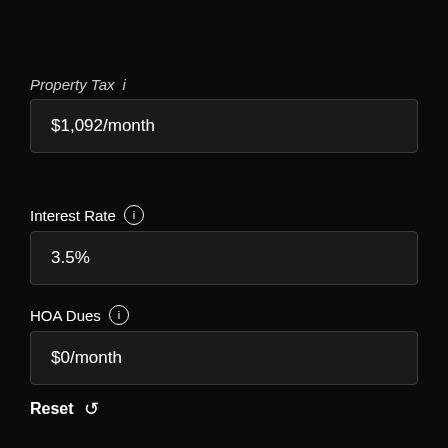Property Tax (info icon)
$1,092/month
Interest Rate (info icon)
3.5%
HOA Dues (info icon)
$0/month
Reset